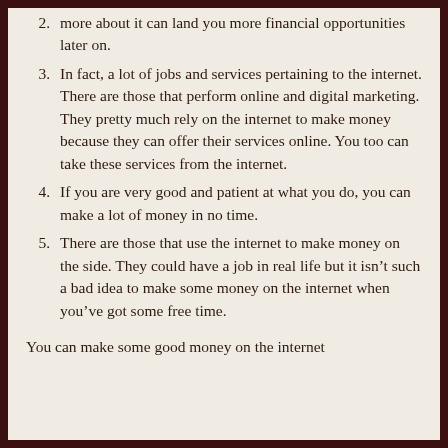more about it can land you more financial opportunities later on.
In fact, a lot of jobs and services pertaining to the internet. There are those that perform online and digital marketing. They pretty much rely on the internet to make money because they can offer their services online. You too can take these services from the internet.
If you are very good and patient at what you do, you can make a lot of money in no time.
There are those that use the internet to make money on the side. They could have a job in real life but it isn't such a bad idea to make some money on the internet when you've got some free time.
You can make some good money on the internet